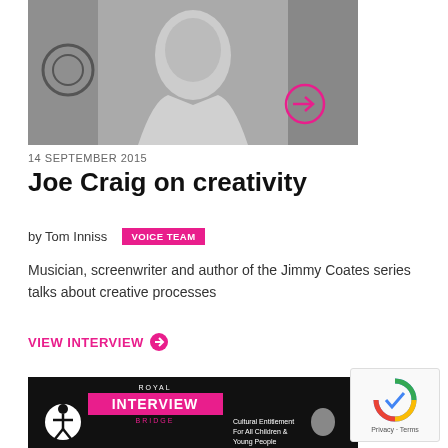[Figure (photo): Black and white portrait photo of Joe Craig, a young man smiling, wearing a light jacket, with a blurred background]
14 SEPTEMBER 2015
Joe Craig on creativity
by Tom Inniss  VOICE TEAM
Musician, screenwriter and author of the Jimmy Coates series talks about creative processes
VIEW INTERVIEW →
[Figure (screenshot): Bottom card showing Royal Interview Bridge with accessibility icon and Cultural Entitlement For All Children & Young People text]